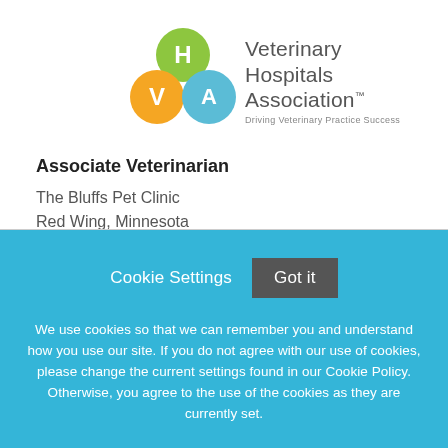[Figure (logo): Veterinary Hospitals Association logo with three overlapping circles (orange V, green H, blue A) and text 'Veterinary Hospitals Association™ Driving Veterinary Practice Success']
Associate Veterinarian
The Bluffs Pet Clinic
Red Wing, Minnesota
Cookie Settings   Got it
We use cookies so that we can remember you and understand how you use our site. If you do not agree with our use of cookies, please change the current settings found in our Cookie Policy. Otherwise, you agree to the use of the cookies as they are currently set.